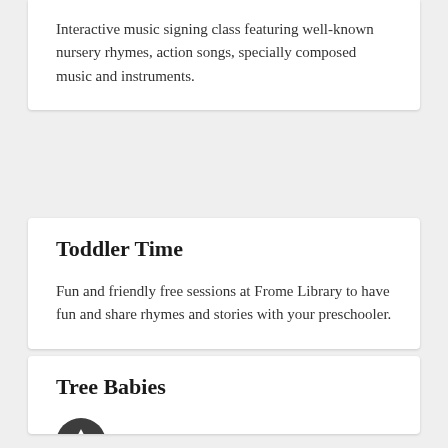Interactive music signing class featuring well-known nursery rhymes, action songs, specially composed music and instruments.
Toddler Time
Fun and friendly free sessions at Frome Library to have fun and share rhymes and stories with your preschooler.
Tree Babies
or parent and baby class.